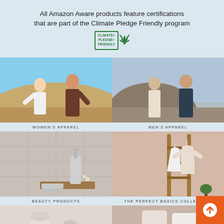All Amazon Aware products feature certifications that are part of the Climate Pledge Friendly program
[Figure (logo): Climate Pledge Friendly logo with badge text and winged emblem]
[Figure (photo): Two people (woman in white and man in brown) sitting on sandy dunes outdoors — Women's Apparel]
WOMEN'S APPAREL
[Figure (photo): Two men in casual cream and navy outerwear standing against rocky terrain — Men's Apparel]
MEN'S APPAREL
[Figure (photo): Beauty products — pump bottle and tin jar on wooden tray against tile background — Beauty Products]
BEAUTY PRODUCTS
[Figure (photo): White and cream T-shirts hanging on a wooden ladder rack — The Perfect Basics Collection]
THE PERFECT BASICS COLLECTION
[Figure (photo): Bottom-left partial image of home/lifestyle products]
[Figure (photo): Bottom-right partial image of apparel or lifestyle products]